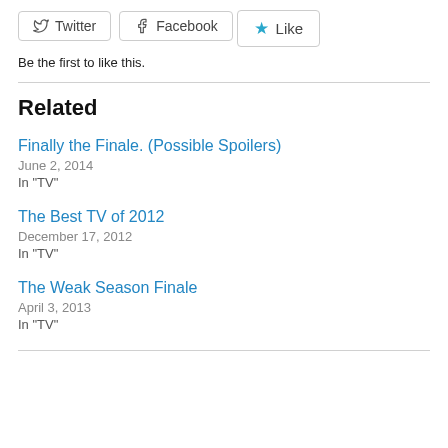[Figure (other): Social share buttons: Twitter and Facebook]
[Figure (other): Like button with star icon]
Be the first to like this.
Related
Finally the Finale. (Possible Spoilers)
June 2, 2014
In "TV"
The Best TV of 2012
December 17, 2012
In "TV"
The Weak Season Finale
April 3, 2013
In "TV"